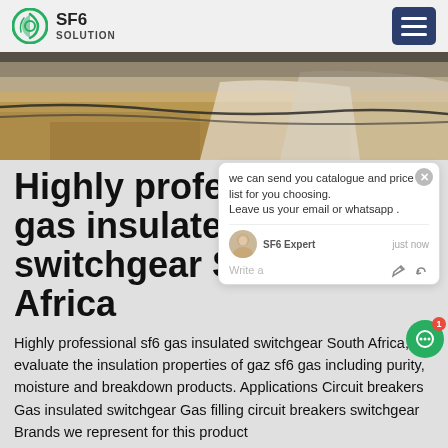SF6 SOLUTION
[Figure (photo): Interior of a industrial/construction site with sand floor, cables and white sheeting visible]
Highly professional gas insulated switchgear South Africa
Highly professional sf6 gas insulated switchgear South Africa,To evaluate the insulation properties of gaz sf6 gas including purity, moisture and breakdown products. Applications Circuit breakers Gas insulated switchgear Gas filling circuit breakers switchgear Brands we represent for this product
Get Price